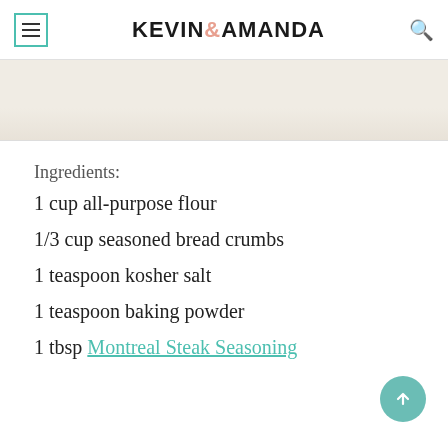KEVIN & AMANDA
[Figure (photo): Light beige/cream colored background image strip, partial photo visible]
Ingredients:
1 cup all-purpose flour
1/3 cup seasoned bread crumbs
1 teaspoon kosher salt
1 teaspoon baking powder
1 tbsp Montreal Steak Seasoning